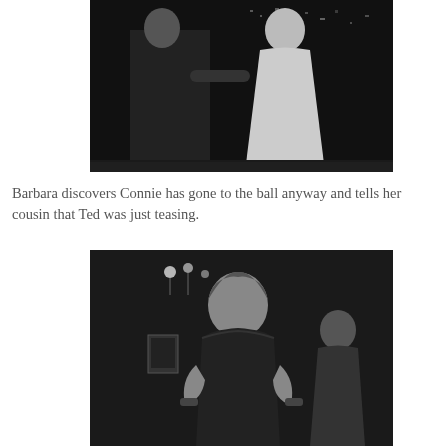[Figure (photo): Black and white film still showing a man in dark suit and a woman in light dress facing each other, interior scene with city lights visible in background]
Barbara discovers Connie has gone to the ball anyway and tells her cousin that Ted was just teasing.
[Figure (photo): Black and white film still showing a young woman in a strapless black dress standing with hands on hips, another figure visible in background, chandelier and wall decoration visible]